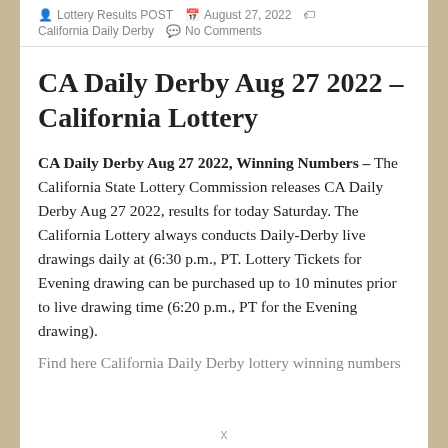Lottery Results POST  August 27, 2022  California Daily Derby  No Comments
CA Daily Derby Aug 27 2022 – California Lottery
CA Daily Derby Aug 27 2022, Winning Numbers – The California State Lottery Commission releases CA Daily Derby Aug 27 2022, results for today Saturday. The California Lottery always conducts Daily-Derby live drawings daily at (6:30 p.m., PT. Lottery Tickets for Evening drawing can be purchased up to 10 minutes prior to live drawing time (6:20 p.m., PT for the Evening drawing).
Find here California Daily Derby lottery winning numbers